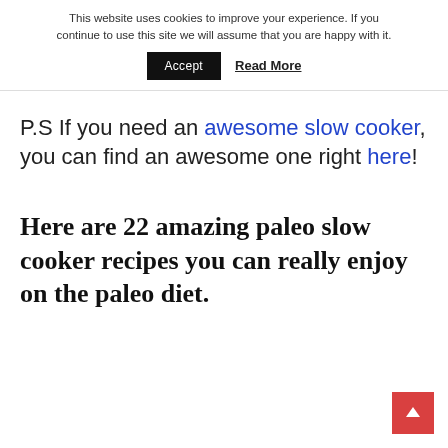This website uses cookies to improve your experience. If you continue to use this site we will assume that you are happy with it.
Accept  Read More
P.S If you need an awesome slow cooker, you can find an awesome one right here!
Here are 22 amazing paleo slow cooker recipes you can really enjoy on the paleo diet.